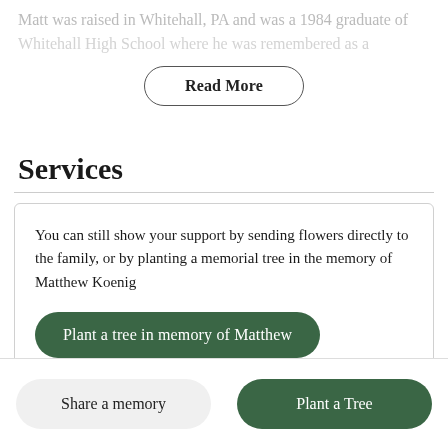Matt was raised in Whitehall, PA and was a 1984 graduate of Whitehall High School where he was remembered as a
Read More
Services
You can still show your support by sending flowers directly to the family, or by planting a memorial tree in the memory of Matthew Koenig
Plant a tree in memory of Matthew
Share a memory
Plant a Tree